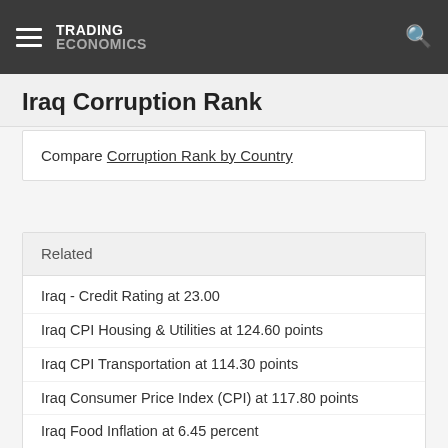TRADING ECONOMICS
Iraq Corruption Rank
Compare Corruption Rank by Country
Related
Iraq - Credit Rating at 23.00
Iraq CPI Housing & Utilities at 124.60 points
Iraq CPI Transportation at 114.30 points
Iraq Consumer Price Index (CPI) at 117.80 points
Iraq Food Inflation at 6.45 percent
Iraq Core Consumer Prices at 120.00 points
Iraq Core Inflation Rate at 5.40 percent
Iraq Inflation Rate at 5.40 percent